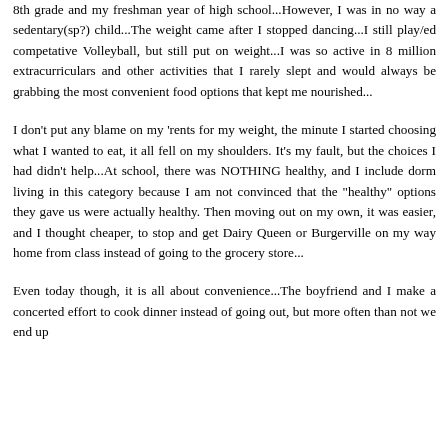8th grade and my freshman year of high school...However, I was in no way a sedentary(sp?) child...The weight came after I stopped dancing...I still play/ed competative Volleyball, but still put on weight...I was so active in 8 million extracurriculars and other activities that I rarely slept and would always be grabbing the most convenient food options that kept me nourished...
I don't put any blame on my 'rents for my weight, the minute I started choosing what I wanted to eat, it all fell on my shoulders. It's my fault, but the choices I had didn't help...At school, there was NOTHING healthy, and I include dorm living in this category because I am not convinced that the "healthy" options they gave us were actually healthy. Then moving out on my own, it was easier, and I thought cheaper, to stop and get Dairy Queen or Burgerville on my way home from class instead of going to the grocery store...
Even today though, it is all about convenience...The boyfriend and I make a concerted effort to cook dinner instead of going out, but more often than not we end up